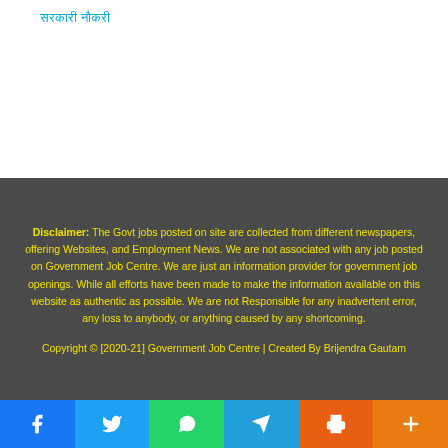सरकारी नौकरी
Disclaimer: The Govt jobs posted on site are collected from different newspapers, offering Websites, and Employment News. We are not associated with any job posted on Government Job Centre. We are just an information provider for government job openings. While all efforts have been made to make the information available on this website as authentic as possible. We are not Responsible for any inadvertent error, any loss to anybody, or anything caused by any shortcoming.
Copyright © [2020-21] Government Job Centre | Created By Brijendra Gautam